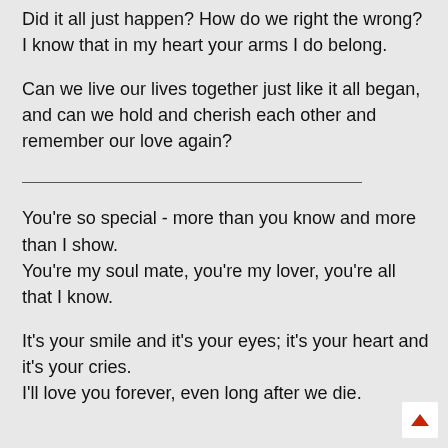Did it all just happen? How do we right the wrong?
I know that in my heart your arms I do belong.
Can we live our lives together just like it all began, and can we hold and cherish each other and remember our love again?
You're so special - more than you know and more than I show.
You're my soul mate, you're my lover, you're all that I know.
It's your smile and it's your eyes; it's your heart and it's your cries.
I'll love you forever, even long after we die.